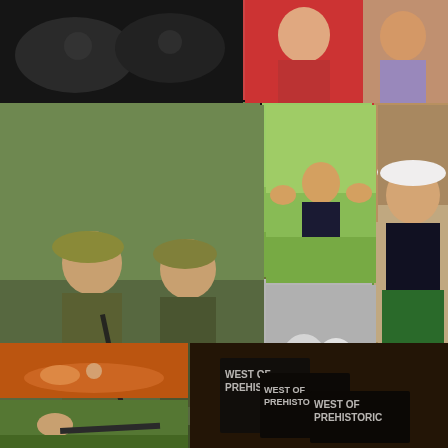[Figure (photo): Black and white close-up photo, dark tones]
[Figure (photo): Two women smiling, one in red shirt]
[Figure (photo): Two soldiers in military gear with rifles crouching outdoors]
[Figure (photo): Man flexing muscles outdoors, wearing black shirt]
[Figure (photo): Black and white photo of a couple smiling close together]
[Figure (photo): Man in cowboy hat sitting in chair wearing green shorts, holding a bottle]
[Figure (photo): Person crawling through orange mud obstacle course with Spartan Race logo]
[Figure (photo): Soldier lying prone aiming a sniper rifle outdoors]
[Figure (photo): Three copies of the book 'West of Prehistoric' on a dark wooden table]
[Figure (photo): Partial photo at the bottom left, outdoor scene]